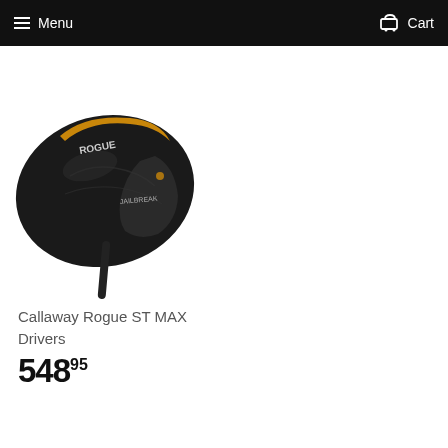Menu  Cart
[Figure (photo): Callaway Rogue ST MAX driver golf club head shown from above at an angle, black with gold accents, text 'ROGUE' visible on the crown]
Callaway Rogue ST MAX Drivers
548.95